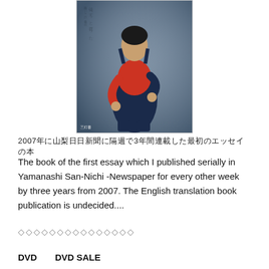[Figure (photo): Book cover showing a man in a red shirt and dark overalls, with Japanese text on the left side. Publisher logo at bottom left.]
2007年に山梨日日新聞に隔週で3年間連載した最初のエッセイの本
The book of the first essay which I published serially in Yamanashi San-Nichi -Newspaper for every other week by three years from 2007. The English translation book publication is undecided....
◇◇◇◇◇◇◇◇◇◇◇◇◇◇◇
DVD　　DVD SALE